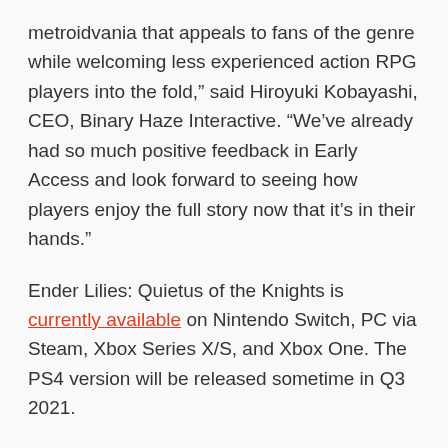metroidvania that appeals to fans of the genre while welcoming less experienced action RPG players into the fold," said Hiroyuki Kobayashi, CEO, Binary Haze Interactive. “We’ve already had so much positive feedback in Early Access and look forward to seeing how players enjoy the full story now that it’s in their hands.”
Ender Lilies: Quietus of the Knights is currently available on Nintendo Switch, PC via Steam, Xbox Series X/S, and Xbox One. The PS4 version will be released sometime in Q3 2021.
Official website here.